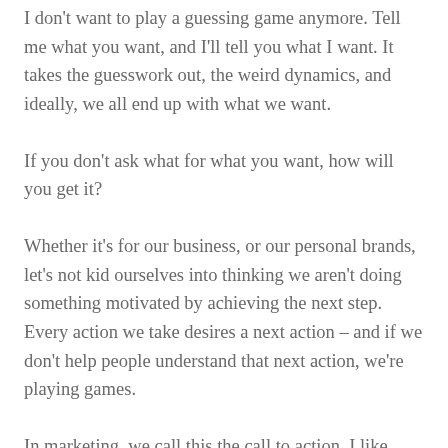I don't want to play a guessing game anymore. Tell me what you want, and I'll tell you what I want. It takes the guesswork out, the weird dynamics, and ideally, we all end up with what we want.
If you don't ask what for what you want, how will you get it?
Whether it's for our business, or our personal brands, let's not kid ourselves into thinking we aren't doing something motivated by achieving the next step. Every action we take desires a next action – and if we don't help people understand that next action, we're playing games.
In marketing, we call this the call to action. I like thinking of it in terms of saving people time, and helping them determine what's next. In other words, stop being so shy